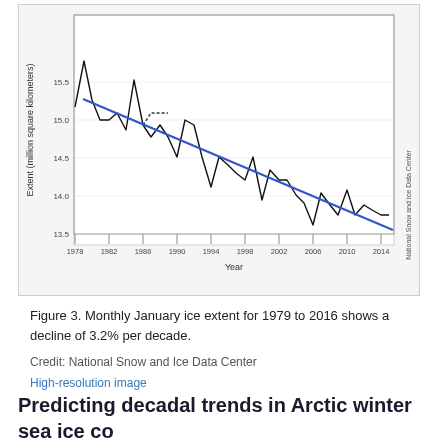[Figure (continuous-plot): Line chart showing monthly January Arctic sea ice extent from 1979 to 2016, with a declining black jagged line and a blue linear trend line. Y-axis shows extent in million square kilometers (13.5 to 15.5). X-axis shows years from 1978 to 2014. A rotated label on the right reads 'National Snow and Ice Data Center'.]
Figure 3. Monthly January ice extent for 1979 to 2016 shows a decline of 3.2% per decade.
Credit: National Snow and Ice Data Center
High-resolution image
Predicting decadal trends in Arctic winter sea ice co